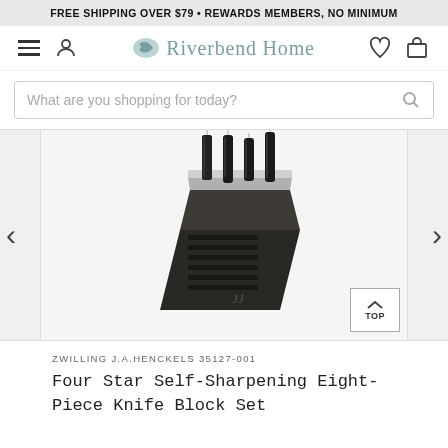FREE SHIPPING OVER $79 • REWARDS MEMBERS, NO MINIMUM
[Figure (screenshot): Riverbend Home website navigation bar with hamburger menu, user icon, Riverbend Home logo with leaf icon, heart/wishlist icon, and shopping cart icon]
[Figure (screenshot): Search bar with placeholder text: What are you shopping for today?]
[Figure (photo): Zwilling J.A. Henckels Four Star Self-Sharpening knife block set showing a dark wooden knife block with multiple knives inserted, photographed against white background]
ZWILLING J.A.HENCKELS 35127-001
Four Star Self-Sharpening Eight-Piece Knife Block Set